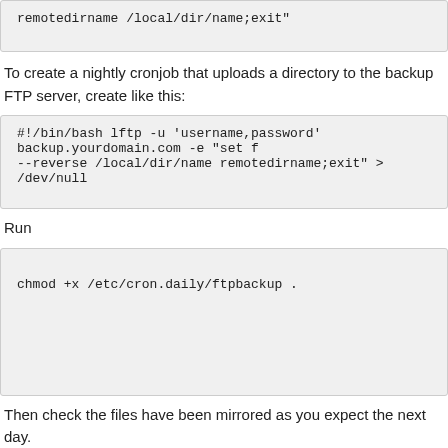remotedirname /local/dir/name;exit"
To create a nightly cronjob that uploads a directory to the backup FTP server, create like this:
#!/bin/bash lftp -u 'username,password' backup.yourdomain.com -e "set f
--reverse /local/dir/name remotedirname;exit" > /dev/null
Run
chmod +x /etc/cron.daily/ftpbackup .
Then check the files have been mirrored as you expect the next day.
Rsync
Rsync is a better option in some ways as it checks the MD5 of files and updates the than re-copying the entire lot.  Short but easy shell script to copy things over